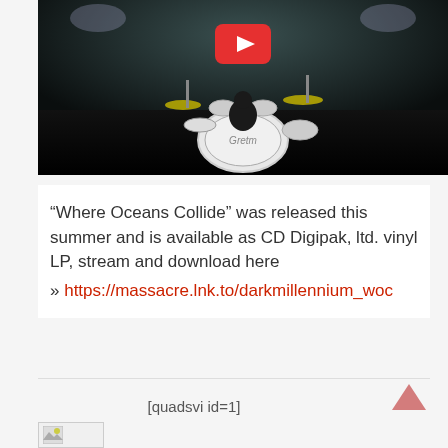[Figure (screenshot): YouTube video thumbnail showing a dark drum kit on stage with a red YouTube play button overlay]
“Where Oceans Collide” was released this summer and is available as CD Digipak, ltd. vinyl LP, stream and download here
» https://massacre.lnk.to/darkmillennium_woc
[quadsvi id=1]
[Figure (photo): Small image thumbnail (partially visible at bottom)]